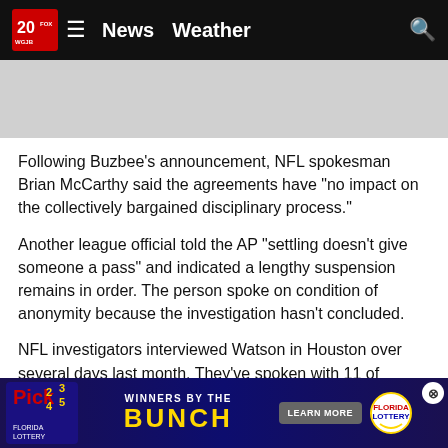20/WGJB News Weather
Following Buzbee’s announcement, NFL spokesman Brian McCarthy said the agreements have “no impact on the collectively bargained disciplinary process.”
Another league official told the AP “settling doesn’t give someone a pass” and indicated a lengthy suspension remains in order. The person spoke on condition of anonymity because the investigation hasn’t concluded.
NFL investigators interviewed Watson in Houston over several days last month. They’ve spoken with 11 of Watson’s accusers, according to a person familiar with the investigation, and there could be more women...
[Figure (screenshot): Pick 2-3-4-5 lottery advertisement banner: Winners by the Bunch, Learn More button, Florida Lottery logo]